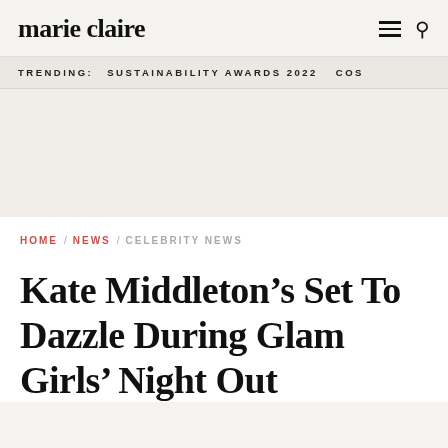marie claire
TRENDING:  SUSTAINABILITY AWARDS 2022  COS
HOME / NEWS / CELEBRITY NEWS
Kate Middleton’s Set To Dazzle During Glam Girls’ Night Out